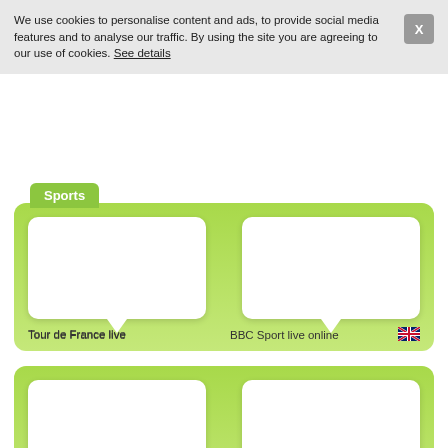We use cookies to personalise content and ads, to provide social media features and to analyse our traffic. By using the site you are agreeing to our use of cookies. See details
Sports
[Figure (screenshot): Tour de France live thumbnail card with UK flag]
[Figure (screenshot): BBC Sport live online thumbnail card with UK flag]
[Figure (screenshot): Sky Sports UK thumbnail card with UK flag]
[Figure (screenshot): BT Sport thumbnail card with UK flag]
[Figure (screenshot): Partial thumbnail card row at bottom]